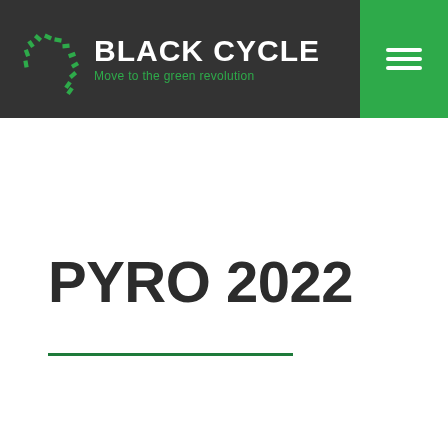[Figure (logo): Black Cycle logo with green leaf arc and text 'BLACK CYCLE — Move to the green revolution' on dark background with green hamburger menu button]
PYRO 2022